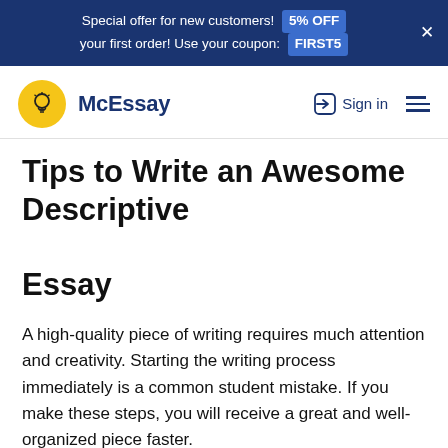Special offer for new customers! 5% OFF your first order! Use your coupon: FIRST5
[Figure (logo): McEssay logo: yellow circle with lightbulb icon, bold navy text 'McEssay', Sign in link and hamburger menu on right]
Tips to Write an Awesome Descriptive Essay
A high-quality piece of writing requires much attention and creativity. Starting the writing process immediately is a common student mistake. If you make these steps, you will receive a great and well-organized piece faster.
Make a Draft